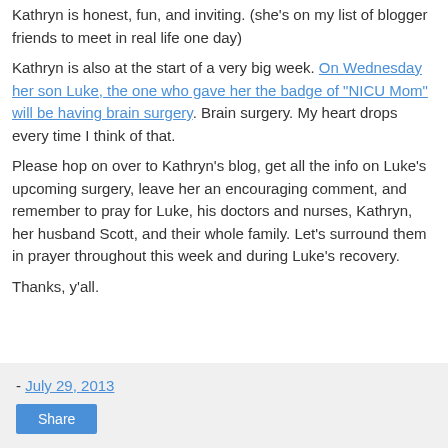Kathryn is honest, fun, and inviting. (she's on my list of blogger friends to meet in real life one day)
Kathryn is also at the start of a very big week. On Wednesday her son Luke, the one who gave her the badge of "NICU Mom" will be having brain surgery. Brain surgery. My heart drops every time I think of that.
Please hop on over to Kathryn's blog, get all the info on Luke's upcoming surgery, leave her an encouraging comment, and remember to pray for Luke, his doctors and nurses, Kathryn, her husband Scott, and their whole family. Let's surround them in prayer throughout this week and during Luke's recovery.
Thanks, y'all.
- July 29, 2013
Share